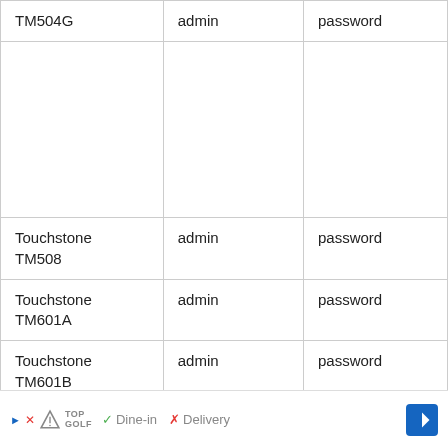| Model | Username | Password |
| --- | --- | --- |
| TM504G | admin | password |
|  |  |  |
| Touchstone TM508 | admin | password |
| Touchstone TM601A | admin | password |
| Touchstone TM601B | admin | password |
| Touchstone TM602B | admin | password |